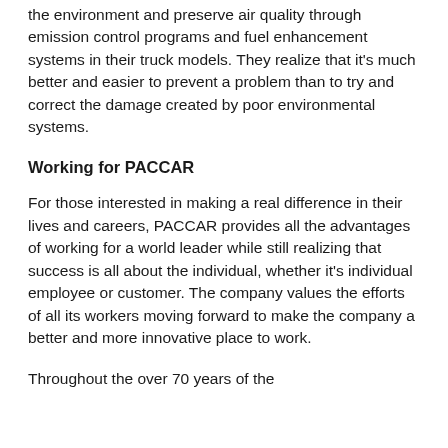the environment and preserve air quality through emission control programs and fuel enhancement systems in their truck models. They realize that it's much better and easier to prevent a problem than to try and correct the damage created by poor environmental systems.
Working for PACCAR
For those interested in making a real difference in their lives and careers, PACCAR provides all the advantages of working for a world leader while still realizing that success is all about the individual, whether it's individual employee or customer. The company values the efforts of all its workers moving forward to make the company a better and more innovative place to work.
Throughout the over 70 years of the